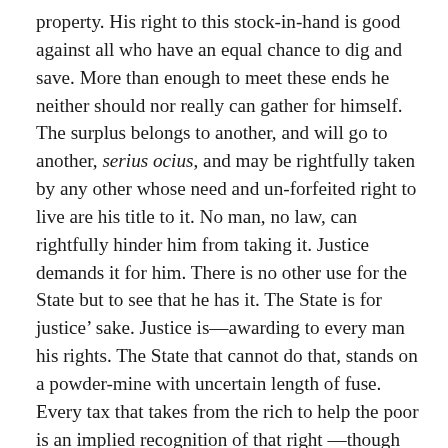property. His right to this stock-in-hand is good against all who have an equal chance to dig and save. More than enough to meet these ends he neither should nor really can gather for himself. The surplus belongs to another, and will go to another, serius ocius, and may be rightfully taken by any other whose need and un-forfeited right to live are his title to it. No man, no law, can rightfully hinder him from taking it. Justice demands it for him. There is no other use for the State but to see that he has it. The State is for justice' sake. Justice is—awarding to every man his rights. The State that cannot do that, stands on a powder-mine with uncertain length of fuse. Every tax that takes from the rich to help the poor is an implied recognition of that right —though but a halting, bungling execution of it.
“A house and the lot on which it stands are alike property, as being the subject of ownership, and are alike classed by lawyers as real estate. Yet in nature and relations they differ widely. The one is produced by human labor, and belongs to